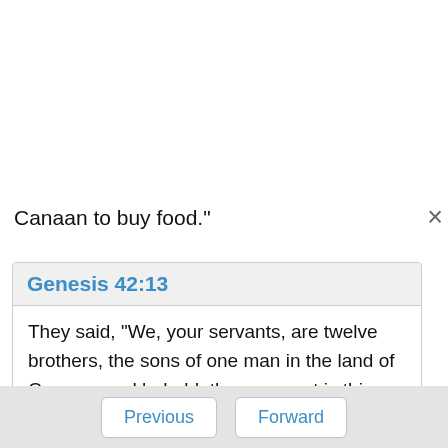Canaan to buy food."
Genesis 42:13
They said, "We, your servants, are twelve brothers, the sons of one man in the land of Canaan; and behold, the youngest is this day with our father, and one is no more."
Genesis 42:29
They came to Jacob their father, to the land of
Previous   Forward